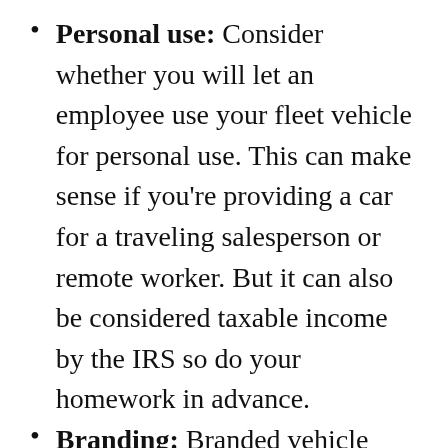Personal use: Consider whether you will let an employee use your fleet vehicle for personal use. This can make sense if you're providing a car for a traveling salesperson or remote worker. But it can also be considered taxable income by the IRS so do your homework in advance.
Branding: Branded vehicle wraps are a great way to advertise your business. But many employees who use a fleet vehicle for personal use don't want to travel in a rolling billboard. Generally speaking, branded vehicles are a better option for strictly corporate use.
Driver requirements: A commercial driver's license is required for vehicles with a gross combined weight rating (GCWR) of 26,001 or